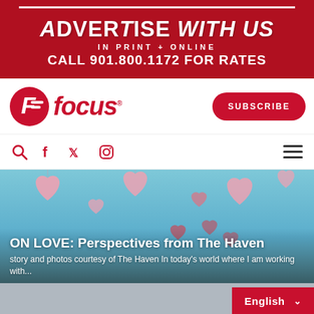[Figure (infographic): Red advertisement banner: ADVERTISE WITH US in print + online. Call 901.800.1172 for rates.]
[Figure (logo): Focus magazine logo with red circular F icon and red italic 'focus' text, plus Subscribe button]
[Figure (infographic): Navigation bar with search, Facebook, Twitter, Instagram icons and hamburger menu]
[Figure (photo): Hero image with sky blue background, floating pink hearts, two men standing. Title overlay: ON LOVE: Perspectives from The Haven. Subtitle: story and photos courtesy of The Haven In today's world where I am working with...]
[Figure (screenshot): Bottom strip showing a building photo and English language selector button]